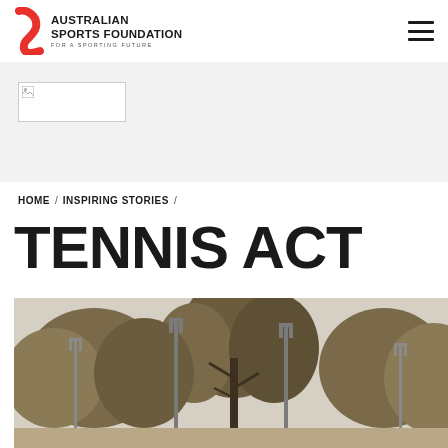[Figure (logo): Australian Sports Foundation logo with red swoosh icon, bold text 'AUSTRALIAN SPORTS FOUNDATION' and tagline 'FOR A SPORTING FUTURE']
[Figure (other): Hamburger menu icon (three horizontal lines) in top right corner]
[Figure (other): Broken/loading image placeholder in gray banner area]
HOME / INSPIRING STORIES /
TENNIS ACT
[Figure (photo): Outdoor photo showing trees and light poles against a light gray sky, appears to be a tennis facility or park area]